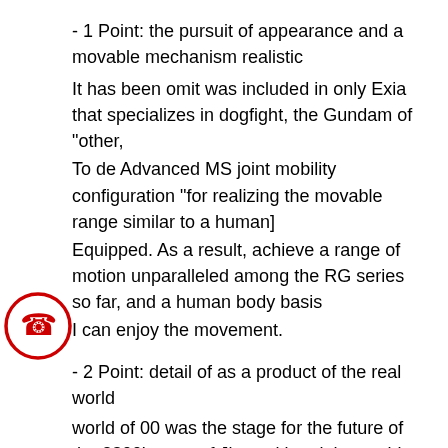- 1 Point: the pursuit of appearance and a movable mechanism realistic
It has been omit was included in only Exia that specializes in dogfight, the Gundam of "other,
To de Advanced MS joint mobility configuration "for realizing the movable range similar to a human]
Equipped. As a result, achieve a range of motion unparalleled among the RG series so far, and a human body basis
I can enjoy the movement.
- 2 Point: detail of as a product of the real world
world of 00 was the stage for the future of the 2300's year of Jitsuzuki and the world we live. Of Exia
ere should be an extension of energy science is the current design features [GN Drive.
The state-of-the-art technology for transmitting light energy to transfer the energy [GN code]
Interpreted as material that has evolved from the plasma